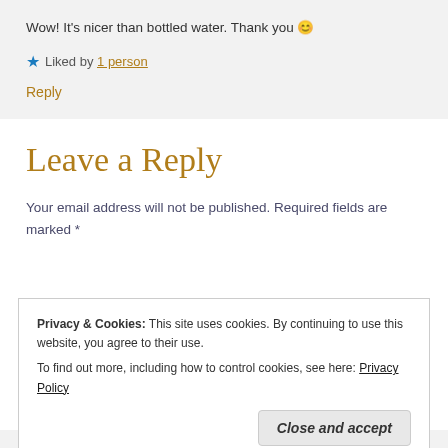Wow! It's nicer than bottled water. Thank you 😊
★ Liked by 1 person
Reply
Leave a Reply
Your email address will not be published. Required fields are marked *
Privacy & Cookies: This site uses cookies. By continuing to use this website, you agree to their use.
To find out more, including how to control cookies, see here: Privacy Policy
Close and accept